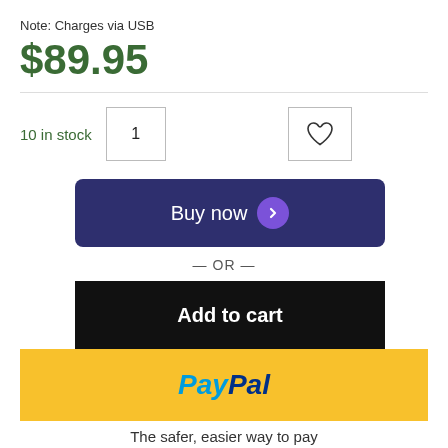Note: Charges via USB
$89.95
10 in stock
1
Buy now
— OR —
Add to cart
PayPal
The safer, easier way to pay
SKU: AC308